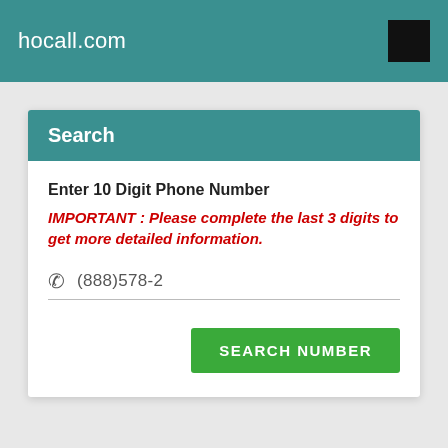hocall.com
Search
Enter 10 Digit Phone Number
IMPORTANT : Please complete the last 3 digits to get more detailed information.
(888)578-2
SEARCH NUMBER